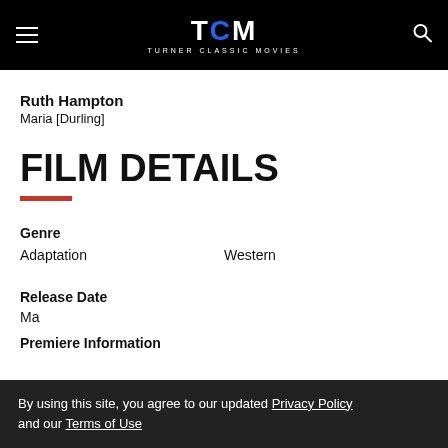TCM TURNER CLASSIC MOVIES
Ruth Hampton
Maria [Durling]
FILM DETAILS
Genre
Adaptation    Western
Release Date
Ma...1952...
Premiere Information
By using this site, you agree to our updated Privacy Policy and our Terms of Use